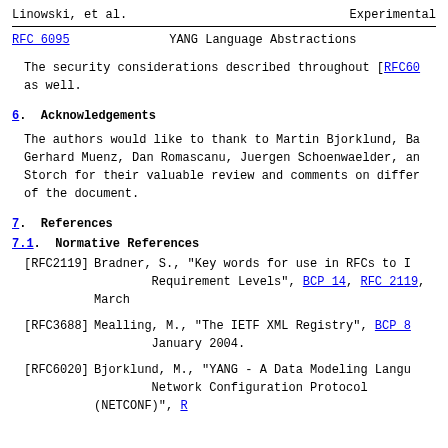Linowski, et al.                    Experimental
RFC 6095                   YANG Language Abstractions
The security considerations described throughout [RFC60 as well.
6.  Acknowledgements
The authors would like to thank to Martin Bjorklund, Ba Gerhard Muenz, Dan Romascanu, Juergen Schoenwaelder, an Storch for their valuable review and comments on differ of the document.
7.  References
7.1.  Normative References
[RFC2119]   Bradner, S., "Key words for use in RFCs to I Requirement Levels", BCP 14, RFC 2119, March
[RFC3688]   Mealling, M., "The IETF XML Registry", BCP 8 January 2004.
[RFC6020]   Bjorklund, M., "YANG - A Data Modeling Langu Network Configuration Protocol (NETCONF)",